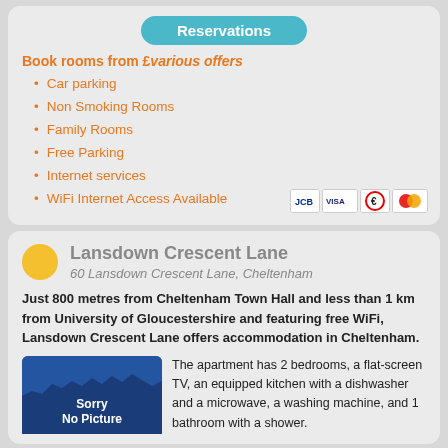Reservations
Book rooms from £various offers
Car parking
Non Smoking Rooms
Family Rooms
Free Parking
Internet services
WiFi Internet Access Available
[Figure (logo): Payment card logos: JCB, Visa, Electron, Mastercard]
Lansdown Crescent Lane
60 Lansdown Crescent Lane, Cheltenham
Just 800 metres from Cheltenham Town Hall and less than 1 km from University of Gloucestershire and featuring free WiFi, Lansdown Crescent Lane offers accommodation in Cheltenham.
[Figure (photo): Sorry No Picture placeholder image in dark blue]
The apartment has 2 bedrooms, a flat-screen TV, an equipped kitchen with a dishwasher and a microwave, a washing machine, and 1 bathroom with a shower.